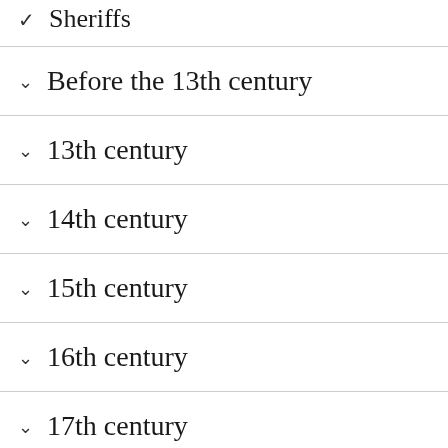Sheriffs
Before the 13th century
13th century
14th century
15th century
16th century
17th century